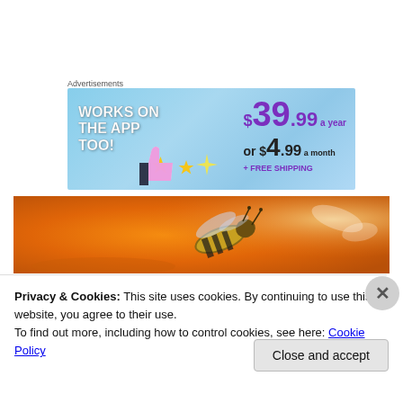Advertisements
[Figure (illustration): Advertisement banner with blue sky background showing 'WORKS ON THE APP TOO!' text, pricing $39.99 a year or $4.99 a month + FREE SHIPPING, with thumbs up icon and stars]
[Figure (photo): Close-up photo of a bee on an orange surface]
Privacy & Cookies: This site uses cookies. By continuing to use this website, you agree to their use.
To find out more, including how to control cookies, see here: Cookie Policy
Close and accept